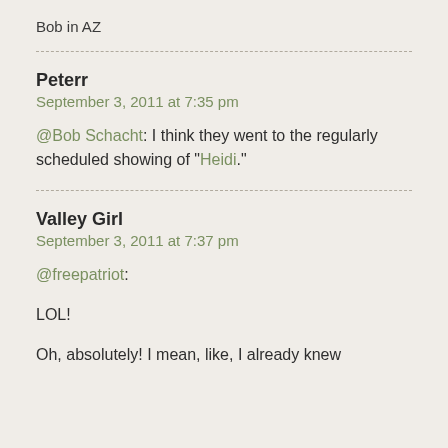Bob in AZ
Peterr
September 3, 2011 at 7:35 pm
@Bob Schacht: I think they went to the regularly scheduled showing of “Heidi.”
Valley Girl
September 3, 2011 at 7:37 pm
@freepatriot:
LOL!
Oh, absolutely! I mean, like, I already knew